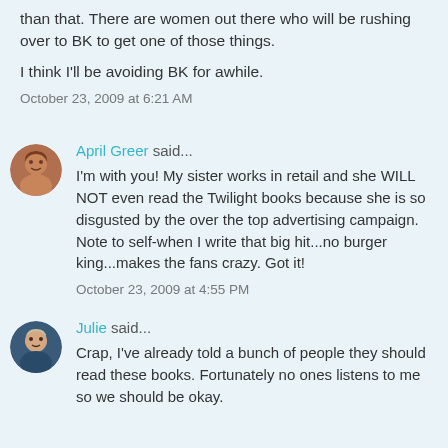than that. There are women out there who will be rushing over to BK to get one of those things.
I think I'll be avoiding BK for awhile.
October 23, 2009 at 6:21 AM
April Greer said...
I'm with you! My sister works in retail and she WILL NOT even read the Twilight books because she is so disgusted by the over the top advertising campaign. Note to self-when I write that big hit...no burger king...makes the fans crazy. Got it!
October 23, 2009 at 4:55 PM
Julie said...
Crap, I've already told a bunch of people they should read these books. Fortunately no ones listens to me so we should be okay.